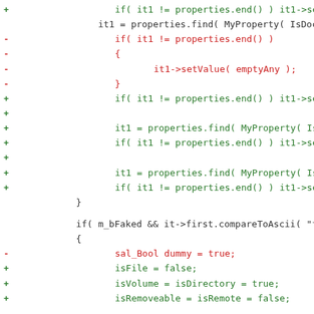Code diff showing changes to properties find and setValue operations, including additions of isFile, isVolume, isDirectory, isRemoveable, isRemote checks and removal of sal_Bool dummy variable.